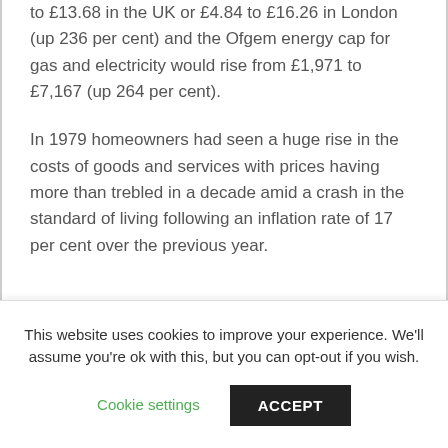to £13.68 in the UK or £4.84 to £16.26 in London (up 236 per cent) and the Ofgem energy cap for gas and electricity would rise from £1,971 to £7,167 (up 264 per cent).
In 1979 homeowners had seen a huge rise in the costs of goods and services with prices having more than trebled in a decade amid a crash in the standard of living following an inflation rate of 17 per cent over the previous year.
This website uses cookies to improve your experience. We'll assume you're ok with this, but you can opt-out if you wish.
Cookie settings
ACCEPT